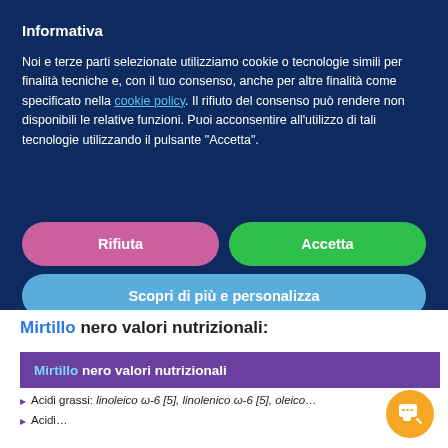Informativa
Noi e terze parti selezionate utilizziamo cookie o tecnologie simili per finalità tecniche e, con il tuo consenso, anche per altre finalità come specificato nella cookie policy. Il rifiuto del consenso può rendere non disponibili le relative funzioni. Puoi acconsentire all'utilizzo di tali tecnologie utilizzando il pulsante “Accetta”.
Rifiuta
Accetta
Scopri di più e personalizza
Mirtillo nero valori nutrizionali:
Mirtillo nero valori nutrizionali
Acidi grassi: linoleico ω-6 [5], linolenico ω-6 [5], oleico…
Acidi…